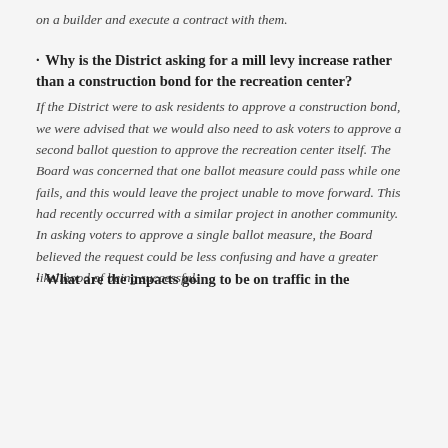on a builder and execute a contract with them.
Why is the District asking for a mill levy increase rather than a construction bond for the recreation center?
If the District were to ask residents to approve a construction bond, we were advised that we would also need to ask voters to approve a second ballot question to approve the recreation center itself. The Board was concerned that one ballot measure could pass while one fails, and this would leave the project unable to move forward. This had recently occurred with a similar project in another community. In asking voters to approve a single ballot measure, the Board believed the request could be less confusing and have a greater likelihood of being successful.
What are the impacts going to be on traffic in the